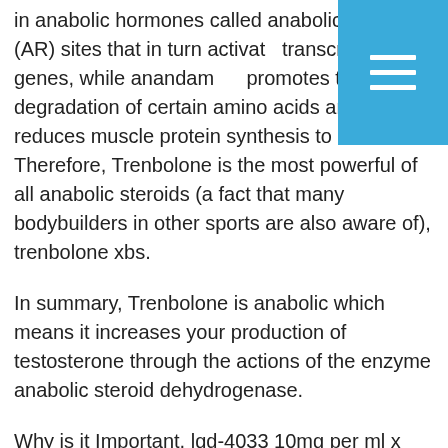in anabolic hormones called anabolic receptor (AR) sites that in turn activate transcription of genes, while anandamide promotes the degradation of certain amino acids and reduces muscle protein synthesis to an extent. Therefore, Trenbolone is the most powerful of all anabolic steroids (a fact that many bodybuilders in other sports are also aware of), trenbolone xbs.
In summary, Trenbolone is anabolic which means it increases your production of testosterone through the actions of the enzyme anabolic steroid dehydrogenase.
Why is it Important, lgd-4033 10mg per ml x 30ml?
If you read most bodybuilding websites you will notice over and over that Trenbolone is the only steroid that has ever been proven to have a very significant effect on strength and